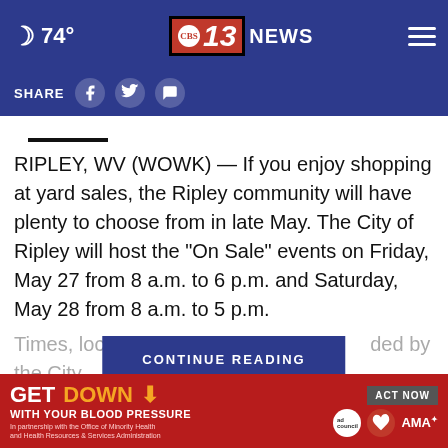74° — CBS 13 NEWS
SHARE
RIPLEY, WV (WOWK) — If you enjoy shopping at yard sales, the Ripley community will have plenty to choose from in late May. The City of Ripley will host the “On Sale” events on Friday, May 27 from 8 a.m. to 6 p.m. and Saturday, May 28 from 8 a.m. to 5 p.m.
Times, locations and maps provided by the City of Ripley are b... ...ar will be
CONTINUE READING
[Figure (other): GET DOWN WITH YOUR BLOOD PRESSURE advertisement banner with ACT NOW button, ad council logo, American Heart Association logo, and AMA logo]